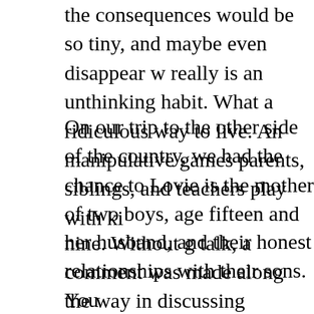the consequences would be so tiny, and maybe even disappear w really is an unthinking habit. What a ridiculous way to live. An manipulative games parents, siblings, and teachers play with ki
On our trip to the other side of the country, we had the chance to Lovie is the mother of two boys, age fifteen and nine. Without g talk, a comment was made along the way in discussing dynamic nine year old often went to his mother crying about some situati this because he is trying to overcome whatever temptation for b this. I am confident that Lovie and her son have this kind of rela wants to do what's right and understands the struggle that it is. I practice intentional parenting. I'm also familiar with the books a school because I have used the same with my son. It is possible the book list) and fail to fulfill the aim of the education, but I kn picture. The books and music studies and nature study and art st touching the heart of her children. She gets that it is not about h much do they Care when they finish their education. I was extre nephews in the week we got to spend with them. I'm very prou
her husband, and their honest relationships with their sons. You